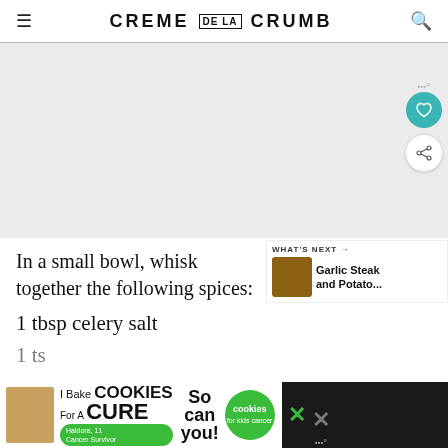CREME DE LA CRUMB
[Figure (photo): Large food photo area (appears blank/gray in screenshot), with floating heart and share buttons on the right side]
In a small bowl, whisk together the following spices:
1 tbsp celery salt
1 ts[p garlic]
[Figure (photo): What's Next panel: Garlic Steak and Potato... thumbnail]
[Figure (other): Advertisement banner: I Bake COOKIES For A CURE / Haldora, 11 Cancer Survivor / So can you! / cookies for kids cancer]